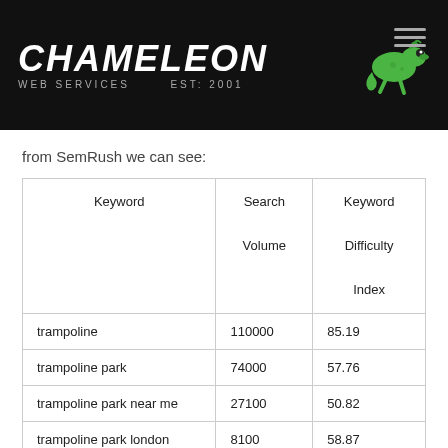CHAMELEON WEB SERVICES EST: 2001
from SemRush we can see:
| Keyword | Search Volume | Keyword Difficulty Index |
| --- | --- | --- |
| trampoline | 110000 | 85.19 |
| trampoline park | 74000 | 57.76 |
| trampoline park near me | 27100 | 50.82 |
| trampoline park london | 8100 | 58.87 |